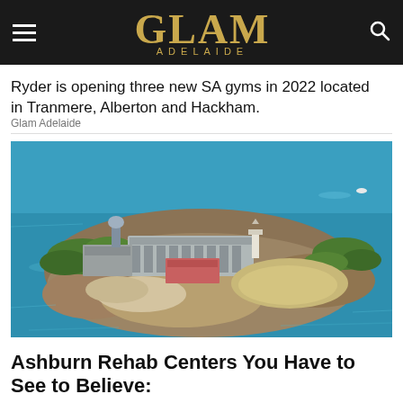GLAM ADELAIDE
Ryder is opening three new SA gyms in 2022 located in Tranmere, Alberton and Hackham.
Glam Adelaide
[Figure (photo): Aerial photograph of Alcatraz Island surrounded by blue-green water, showing the prison buildings, rocky terrain, and vegetation from above.]
Ashburn Rehab Centers You Have to See to Believe: